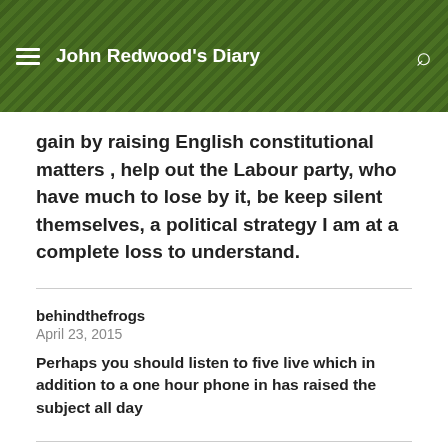John Redwood's Diary
gain by raising English constitutional matters , help out the Labour party, who have much to lose by it, be keep silent themselves, a political strategy I am at a complete loss to understand.
behindthefrogs
April 23, 2015
Perhaps you should listen to five live which in addition to a one hour phone in has raised the subject all day
Iain Moore